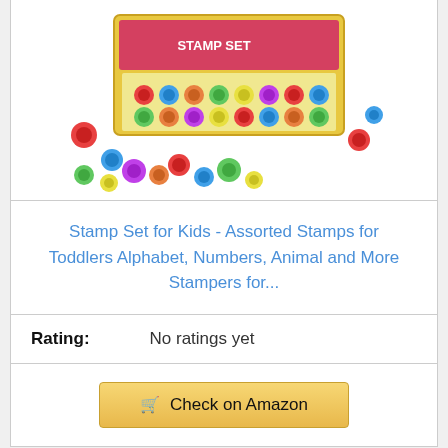[Figure (photo): Assorted colorful stamp set for kids in a display box with scattered stamp rollers/stampers around it]
Stamp Set for Kids - Assorted Stamps for Toddlers Alphabet, Numbers, Animal and More Stampers for...
Rating: No ratings yet
🛒 Check on Amazon
Bestseller No. 16
[Figure (photo): Ready 2 Learn Giant Stampers product packaging showing alphabet stamps]